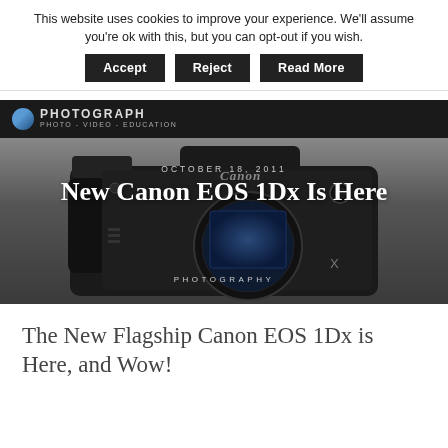This website uses cookies to improve your experience. We'll assume you're ok with this, but you can opt-out if you wish.
Accept | Reject | Read More
PHOTOGRAPH — PHOTO - VIDEO - EDUCATION
[Figure (photo): Canon EOS 1Dx camera body, front view, on dark gradient background]
OCTOBER 18, 2011
New Canon EOS 1Dx Is Here
PHOTOGRAPHY
The New Flagship Canon EOS 1Dx is Here, and Wow!